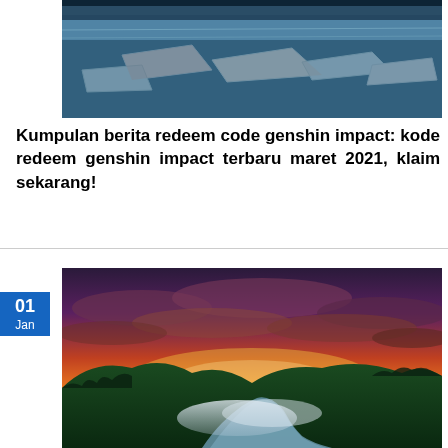[Figure (photo): Aerial or close-up photo of icy water surface with broken ice sheets and blue tones]
Kumpulan berita redeem code genshin impact: kode redeem genshin impact terbaru maret 2021, klaim sekarang!
[Figure (photo): Scenic landscape photo of a winding river through forested valleys under a dramatic sunset sky with orange, red, and purple clouds]